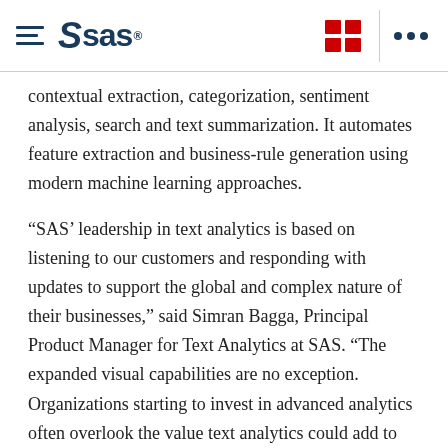SAS logo and navigation header
contextual extraction, categorization, sentiment analysis, search and text summarization. It automates feature extraction and business-rule generation using modern machine learning approaches.
“SAS’ leadership in text analytics is based on listening to our customers and responding with updates to support the global and complex nature of their businesses,” said Simran Bagga, Principal Product Manager for Text Analytics at SAS. “The expanded visual capabilities are no exception. Organizations starting to invest in advanced analytics often overlook the value text analytics could add to the process. Adding a robust visual component to the SAS offering makes it easier for data scientists and executives to work together to